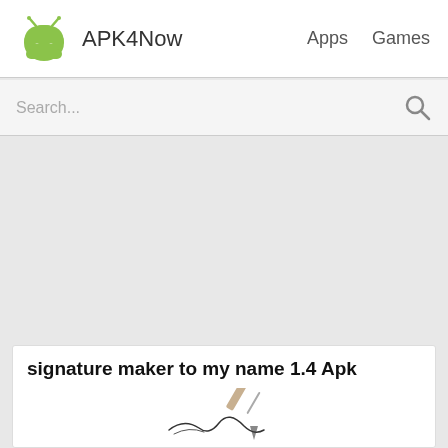APK4Now   Apps   Games
Search...
signature maker to my name 1.4 Apk
[Figure (illustration): Partial view of a signature illustration showing a pen writing a signature, cropped at bottom of page]